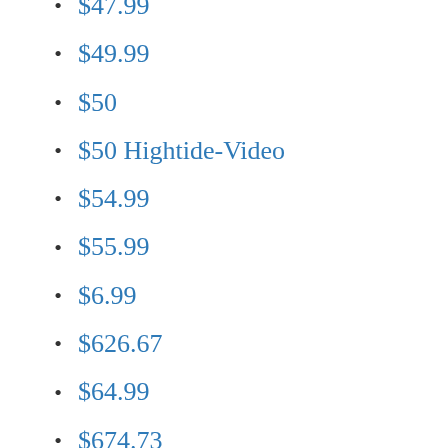$47.99
$49.99
$50
$50 Hightide-Video
$54.99
$55.99
$6.99
$626.67
$64.99
$674.73
$69.99
$7.99
$7.99 FemScat
$7.99 ScatShop
$769.78
$79.99
$8.99